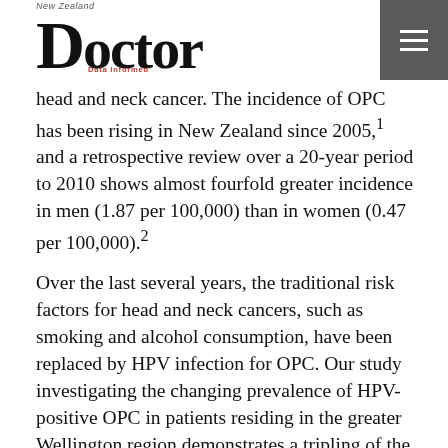New Zealand Doctor
head and neck cancer. The incidence of OPC has been rising in New Zealand since 2005,1 and a retrospective review over a 20-year period to 2010 shows almost fourfold greater incidence in men (1.87 per 100,000) than in women (0.47 per 100,000).2
Over the last several years, the traditional risk factors for head and neck cancers, such as smoking and alcohol consumption, have been replaced by HPV infection for OPC. Our study investigating the changing prevalence of HPV-positive OPC in patients residing in the greater Wellington region demonstrates a tripling of the proportion of HPV-positive OPC over the 20-year period.3
Patients with HPV-positive OPC are 10 years younger than those with HPV-negative OPC, and they are less likely to have smoked.3 The study confirms the increased prevalence of HPV-positive